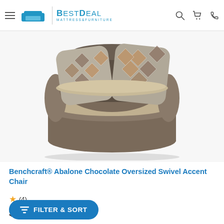BestDeal Mattress & Furniture — navigation header with hamburger menu, logo, search, cart, and phone icons
[Figure (photo): Benchcraft Abalone Chocolate Oversized Swivel Accent Chair — a large round barrel chair with brown/taupe upholstery and patterned accent pillows with geometric diamond motif]
Benchcraft® Abalone Chocolate Oversized Swivel Accent Chair
★ (4)
$699.99